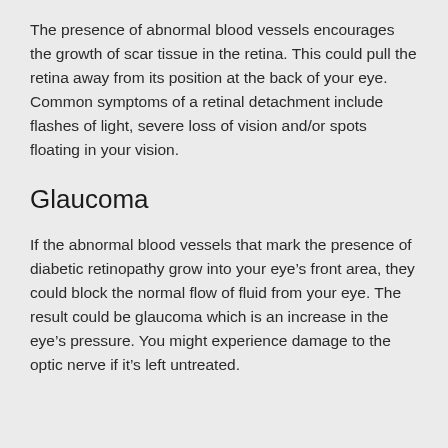The presence of abnormal blood vessels encourages the growth of scar tissue in the retina. This could pull the retina away from its position at the back of your eye. Common symptoms of a retinal detachment include flashes of light, severe loss of vision and/or spots floating in your vision.
Glaucoma
If the abnormal blood vessels that mark the presence of diabetic retinopathy grow into your eye's front area, they could block the normal flow of fluid from your eye. The result could be glaucoma which is an increase in the eye's pressure. You might experience damage to the optic nerve if it's left untreated.